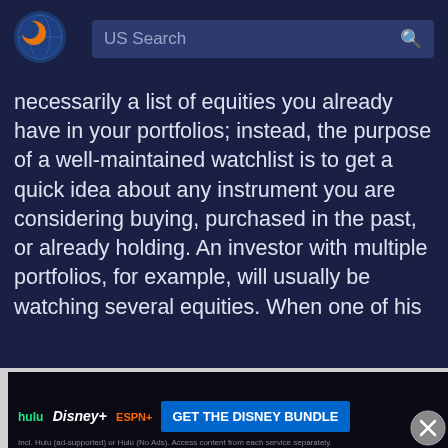[Figure (logo): Macroaxis circular logo with orange and blue planet/moon icon]
US Search
necessarily a list of equities you already have in your portfolios; instead, the purpose of a well-maintained watchlist is to get a quick idea about any instrument you are considering buying, purchased in the past, or already holding. An investor with multiple portfolios, for example, will usually be watching several equities. When one of his
By using Macroaxis, you are agreeing to our revised Privacy Policy
stand
his lo
lone
how
to
too
[Figure (screenshot): Disney Bundle advertisement banner with Hulu, Disney+, ESPN+ logos and GET THE DISNEY BUNDLE button]